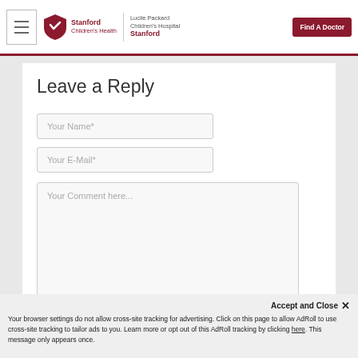Stanford Children's Health | Lucile Packard Children's Hospital Stanford | Find A Doctor
Leave a Reply
Your Name*
Your E-Mail*
Your Comment here...
Accept and Close ✕
Your browser settings do not allow cross-site tracking for advertising. Click on this page to allow AdRoll to use cross-site tracking to tailor ads to you. Learn more or opt out of this AdRoll tracking by clicking here. This message only appears once.